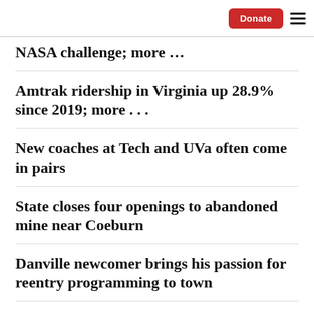Donate [button] ≡ [menu]
…g … p NASA challenge; more …
Amtrak ridership in Virginia up 28.9% since 2019; more …
New coaches at Tech and UVa often come in pairs
State closes four openings to abandoned mine near Coeburn
Danville newcomer brings his passion for reentry programming to town
People are moving out of Lynchburg and Roanoke. Where are they going?